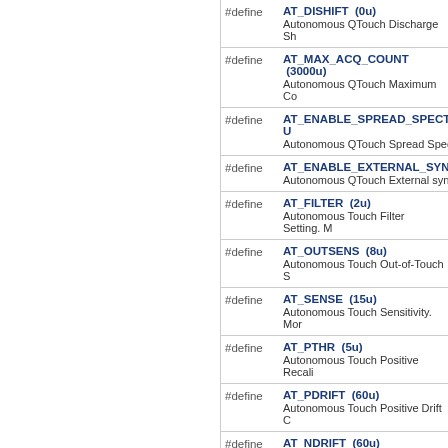#define AT_DISHIFT (0u) Autonomous QTouch Discharge Sh...
#define AT_MAX_ACQ_COUNT (3000u) Autonomous QTouch Maximum Co...
#define AT_ENABLE_SPREAD_SPECTR... Autonomous QTouch Spread Spec...
#define AT_ENABLE_EXTERNAL_SYNC Autonomous QTouch External sync...
#define AT_FILTER (2u) Autonomous Touch Filter Setting. M...
#define AT_OUTSENS (8u) Autonomous Touch Out-of-Touch S...
#define AT_SENSE (15u) Autonomous Touch Sensitivity. Mor...
#define AT_PTHR (5u) Autonomous Touch Positive Recali...
#define AT_PDRIFT (60u) Autonomous Touch Positive Drift C...
#define AT_NDRIFT (60u) Autonomous Touch Negative Drift C...
Touch common configuration options.
#define TOUCH_SYNC_PIN_OPTION (U... Touch Sync Pin option. More...